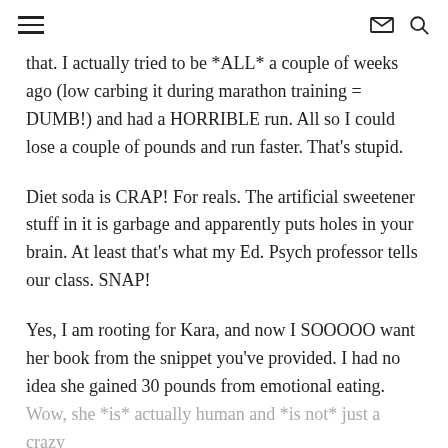≡  ✉ 🔍
that. I actually tried to be *ALL* a couple of weeks ago (low carbing it during marathon training = DUMB!) and had a HORRIBLE run. All so I could lose a couple of pounds and run faster. That's stupid.
Diet soda is CRAP! For reals. The artificial sweetener stuff in it is garbage and apparently puts holes in your brain. At least that's what my Ed. Psych professor tells our class. SNAP!
Yes, I am rooting for Kara, and now I SOOOOO want her book from the snippet you've provided. I had no idea she gained 30 pounds from emotional eating. Wow, she *is* actually human and *is not* just a crazy